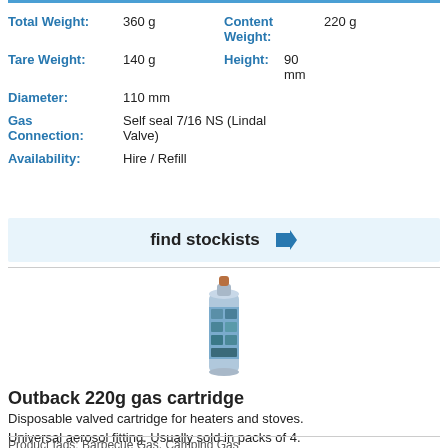| Total Weight: | 360 g | Content Weight: | 220 g |
| Tare Weight: | 140 g | Height: | 90 mm |
| Diameter: | 110 mm |  |  |
| Gas Connection: | Self seal 7/16 NS (Lindal Valve) |  |  |
| Availability: | Hire / Refill |  |  |
find stockists →
[Figure (photo): Photo of an Outback 220g gas cartridge — a tall cylindrical aerosol-style can with a blue/outdoor-scene label and a copper/orange valve on top.]
Outback 220g gas cartridge
Disposable valved cartridge for heaters and stoves. Universal aerosol fitting. Usually sold in packs of 4.
Product tags: Barbecue Gas, Camping Gas